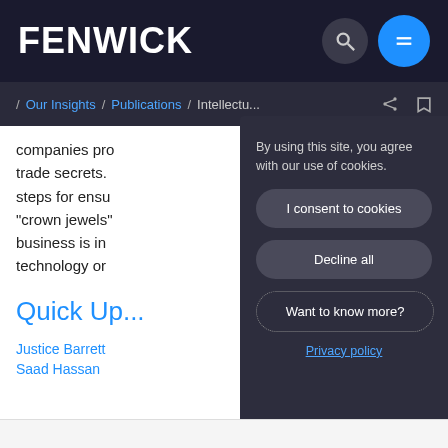FENWICK
/ Our Insights / Publications / Intellectu...
companies pro trade secrets. steps for ensu "crown jewels" business is in technology or
Quick Up...
Justice Barrett
Saad Hassan
By using this site, you agree with our use of cookies.
I consent to cookies
Decline all
Want to know more?
Privacy policy